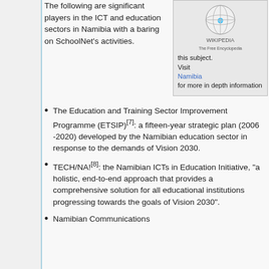The following are significant players in the ICT and education sectors in Namibia with a baring on SchoolNet's activities.
[Figure (other): Wikipedia logo with text 'this subject. Visit Namibia for more in depth information']
The Education and Training Sector Improvement Programme (ETSIP)[7]: a fifteen-year strategic plan (2006 -2020) developed by the Namibian education sector in response to the demands of Vision 2030.
TECH/NA![8]: the Namibian ICTs in Education Initiative, "a holistic, end-to-end approach that provides a comprehensive solution for all educational institutions progressing towards the goals of Vision 2030".
Namibian Communications